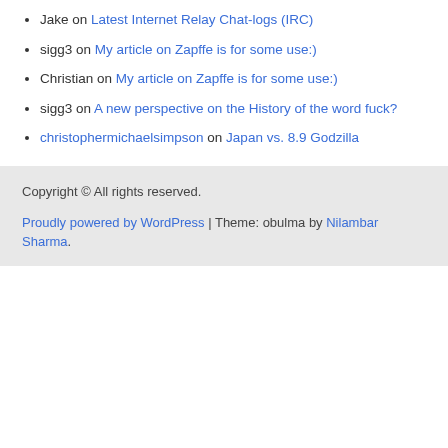Jake on Latest Internet Relay Chat-logs (IRC)
sigg3 on My article on Zapffe is for some use:)
Christian on My article on Zapffe is for some use:)
sigg3 on A new perspective on the History of the word fuck?
christophermichaelsimpson on Japan vs. 8.9 Godzilla
Copyright © All rights reserved.
Proudly powered by WordPress | Theme: obulma by Nilambar Sharma.